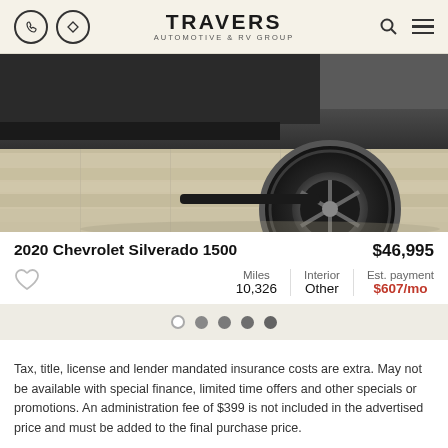TRAVERS AUTOMOTIVE & RV GROUP
[Figure (photo): Close-up photo of a black truck tire and lower body on a light wood-patterned floor]
2020 Chevrolet Silverado 1500
$46,995
Miles 10,326 | Interior Other | Est. payment $607/mo
Carousel navigation dots (5 dots, first selected)
Tax, title, license and lender mandated insurance costs are extra. May not be available with special finance, limited time offers and other specials or promotions. An administration fee of $399 is not included in the advertised price and must be added to the final purchase price.